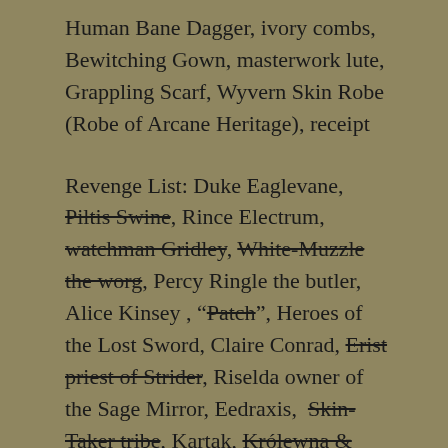Human Bane Dagger, ivory combs, Bewitching Gown, masterwork lute, Grappling Scarf, Wyvern Skin Robe (Robe of Arcane Heritage), receipt
Revenge List: Duke Eaglevane, Piltis Swine [strikethrough], Rince Electrum, watchman Gridley [strikethrough], White-Muzzle the worg [strikethrough], Percy Ringle the butler, Alice Kinsey, "Patch" [strikethrough], Heroes of the Lost Sword, Claire Conrad, Erist priest of Strider [strikethrough], Riselda owner of the Sage Mirror, Eedraxis, Skin-Taker tribe [strikethrough], Kartak, Królewna & Bonifacja Trading Company [strikethrough], Hurmont Family, Androni Titus, Greasy dreadlocks woman, Lodestone Security, Kellgale Nickoslander, Beltian Kruin the Splithog Pauper, The King of Spiders, Auraluna Domiel, mother Hurk [strikethrough], Mazzmus Parmalee [strikethrough], Helgan van Tankerstrum, Lightdancer, Bonder Greysmith, Pegwhistle Proudfoot, Lumbfoot Sheepskin,